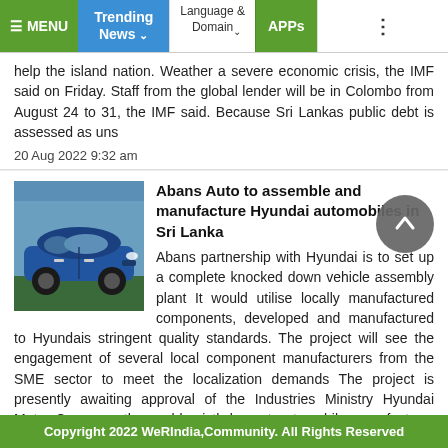MENU | Trending News | Language & Domain | APPs
help the island nation. Weather a severe economic crisis, the IMF said on Friday. Staff from the global lender will be in Colombo from August 24 to 31, the IMF said. Because Sri Lankas public debt is assessed as uns
20 Aug 2022 9:32 am
Abans Auto to assemble and manufacture Hyundai automobiles in Sri Lanka
Abans partnership with Hyundai is to set up a complete knocked down vehicle assembly plant It would utilise locally manufactured components, developed and manufactured to Hyundais stringent quality standards. The project will see the engagement of several local component manufacturers from the SME sector to meet the localization demands The project is presently awaiting approval of the Industries Ministry Hyundai Motor Company, the worlds sixth largest automobile manufacturer and a leader in futu
19 Aug 2022 4:58 pm
Copyright 2022 WeRIndia,Community. All Rights Reserved